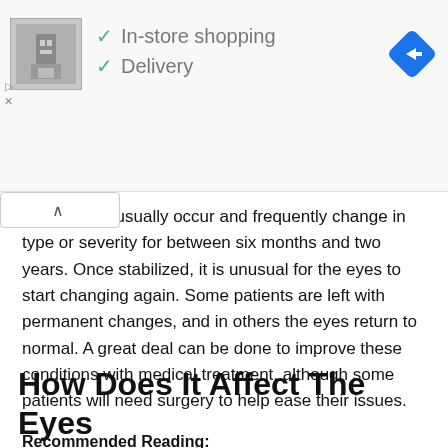[Figure (screenshot): Ad banner showing a store photo with checkmarks for In-store shopping and Delivery, and a blue navigation/directions diamond icon]
roblems will usually occur and frequently change in type or severity for between six months and two years. Once stabilized, it is unusual for the eyes to start changing again. Some patients are left with permanent changes, and in others the eyes return to normal. A great deal can be done to improve these conditions with medical treatment, although some patients will need surgery to help ease their issues.
Recommended Reading:
Can I Take Collagen Supplements With Thyroid Medication
How Does It Affect The Eyes